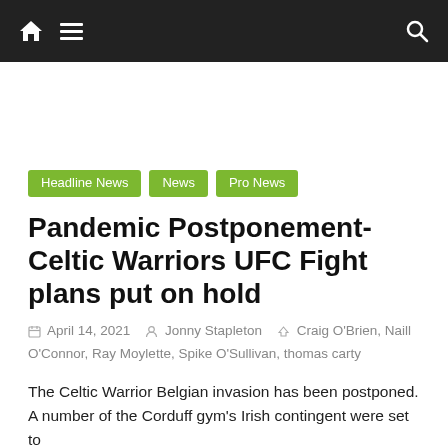Navigation bar with home, menu, and search icons
Pandemic Postponement- Celtic Warriors UFC Fight plans put on hold
April 14, 2021  Jonny Stapleton  Craig O'Brien, Naill O'Connor, Ray Moylette, Spike O'Sullivan, thomas carty
The Celtic Warrior Belgian invasion has been postponed. A number of the Corduff gym's Irish contingent were set to